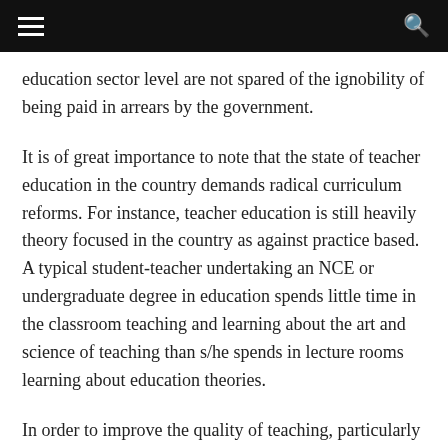≡  🔍
education sector level are not spared of the ignobility of being paid in arrears by the government.
It is of great importance to note that the state of teacher education in the country demands radical curriculum reforms. For instance, teacher education is still heavily theory focused in the country as against practice based. A typical student-teacher undertaking an NCE or undergraduate degree in education spends little time in the classroom teaching and learning about the art and science of teaching than s/he spends in lecture rooms learning about education theories.
In order to improve the quality of teaching, particularly